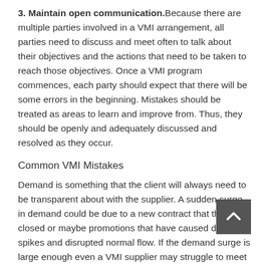3. Maintain open communication. Because there are multiple parties involved in a VMI arrangement, all parties need to discuss and meet often to talk about their objectives and the actions that need to be taken to reach those objectives. Once a VMI program commences, each party should expect that there will be some errors in the beginning. Mistakes should be treated as areas to learn and improve from. Thus, they should be openly and adequately discussed and resolved as they occur.
Common VMI Mistakes
Demand is something that the client will always need to be transparent about with the supplier. A sudden surge in demand could be due to a new contract that the client closed or maybe promotions that have caused demand spikes and disrupted normal flow. If the demand surge is large enough even a VMI supplier may struggle to meet